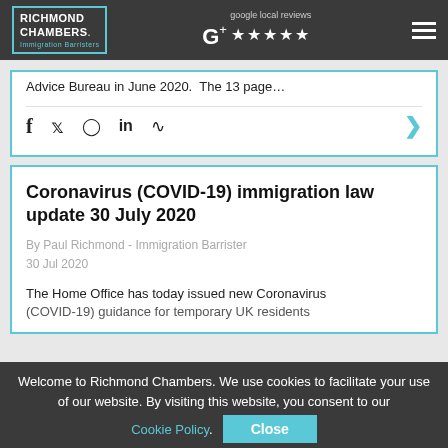RICHMOND CHAMBERS. Immigration Barristers | google local reviews ★★★★★ | Menu
Advice Bureau in June 2020.  The 13 page…
f  🐦  ⊙  in  ▶ (social icons row)
Coronavirus (COVID-19) immigration law update 30 July 2020
By Paul Richmond - Immigration Barrister
30 Jul 2020
The Home Office has today issued new Coronavirus (COVID-19) guidance for temporary UK residents
Welcome to Richmond Chambers. We use cookies to facilitate your use of our website. By visiting this website, you consent to our Cookie Policy. Close